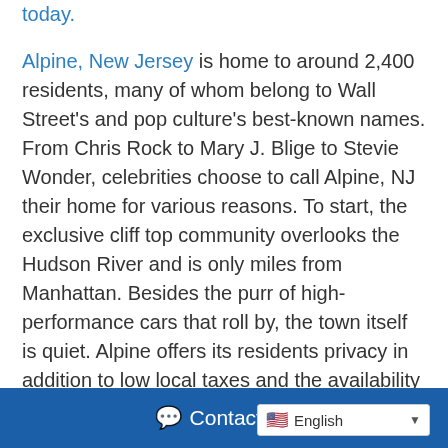today.
Alpine, New Jersey is home to around 2,400 residents, many of whom belong to Wall Street's and pop culture's best-known names. From Chris Rock to Mary J. Blige to Stevie Wonder, celebrities choose to call Alpine, NJ their home for various reasons. To start, the exclusive cliff top community overlooks the Hudson River and is only miles from Manhattan. Besides the purr of high-performance cars that roll by, the town itself is quiet. Alpine offers its residents privacy in addition to low local taxes and the availability of large plots of land.
Living in Alpine
Contact Us  English